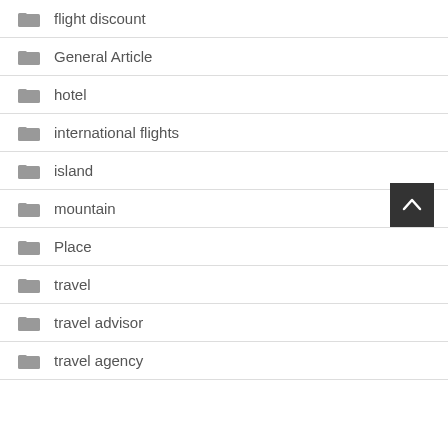flight discount
General Article
hotel
international flights
island
mountain
Place
travel
travel advisor
travel agency